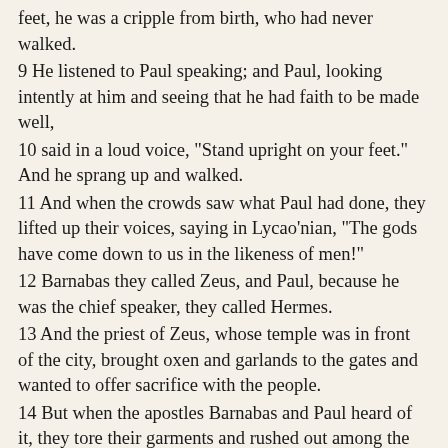feet, he was a cripple from birth, who had never walked.
9 He listened to Paul speaking; and Paul, looking intently at him and seeing that he had faith to be made well,
10 said in a loud voice, "Stand upright on your feet." And he sprang up and walked.
11 And when the crowds saw what Paul had done, they lifted up their voices, saying in Lycao'nian, "The gods have come down to us in the likeness of men!"
12 Barnabas they called Zeus, and Paul, because he was the chief speaker, they called Hermes.
13 And the priest of Zeus, whose temple was in front of the city, brought oxen and garlands to the gates and wanted to offer sacrifice with the people.
14 But when the apostles Barnabas and Paul heard of it, they tore their garments and rushed out among the multitude, crying,
15 "Men, why are you doing this? We also are men, of like nature with you, and bring you good news, that you should turn from these vain things to a living God who made the heaven and the earth and the sea and all that is in them.
16 In past generations he allowed all the nations to walk in their own ways;
17 yet he did not leave himself without witness, for he did good and to you from heaven gave rain and fruitful seasons, satisfying